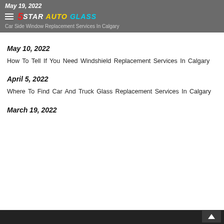May 19, 2022
[Figure (logo): 5 Star Auto Glass logo with hamburger menu icon]
Car Side Window Replacement Services In Calgary
May 10, 2022
How To Tell If You Need Windshield Replacement Services In Calgary
April 5, 2022
Where To Find Car And Truck Glass Replacement Services In Calgary
March 19, 2022